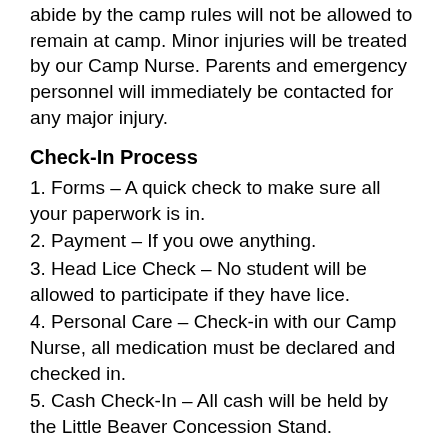abide by the camp rules will not be allowed to remain at camp. Minor injuries will be treated by our Camp Nurse. Parents and emergency personnel will immediately be contacted for any major injury.
Check-In Process
1. Forms – A quick check to make sure all your paperwork is in.
2. Payment – If you owe anything.
3. Head Lice Check – No student will be allowed to participate if they have lice.
4. Personal Care – Check-in with our Camp Nurse, all medication must be declared and checked in.
5. Cash Check-In – All cash will be held by the Little Beaver Concession Stand.
6. (cut off)